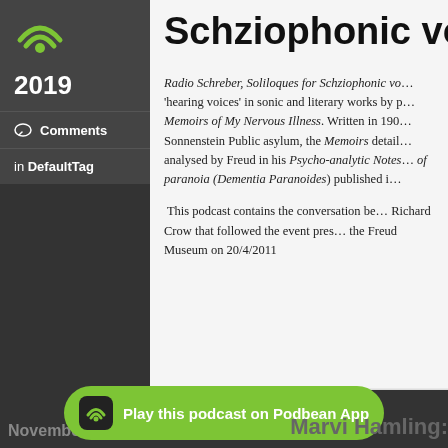[Figure (logo): Podbean wifi/podcast logo in green on dark background with year 2019]
Comments
in DefaultTag
Schziophonic voi
Radio Schreber, Soliloques for Schziophonic voices... 'hearing voices' in sonic and literary works by p... Memoirs of My Nervous Illness. Written in 190... Sonnenstein Public asylum, the Memoirs detail... analysed by Freud in his Psycho-analytic Notes... of paranoia (Dementia Paranoides) published i...
This podcast contains the conversation be... Richard Crow that followed the event pres... the Freud Museum on 20/4/2011
Likes   Share   Download
Play this podcast on Podbean App
November 14...